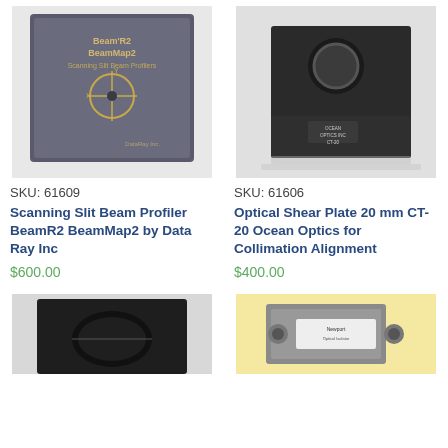[Figure (photo): Scanning Slit Beam Profiler BeamR2 BeamMap2 by Data Ray Inc device, dark gray box with crosshair logo and text on front]
SKU: 61609
Scanning Slit Beam Profiler BeamR2 BeamMap2 by Data Ray Inc
$600.00
[Figure (photo): Optical Shear Plate 20 mm CT-20 Ocean Optics for Collimation Alignment, black L-shaped bracket with circular aperture]
SKU: 61606
Optical Shear Plate 20 mm CT-20 Ocean Optics for Collimation Alignment
$400.00
[Figure (photo): Black optical mount with elliptical aperture, partially cropped at bottom of page]
[Figure (photo): Optical device with metallic fittings and label sticker, partially cropped at bottom of page]